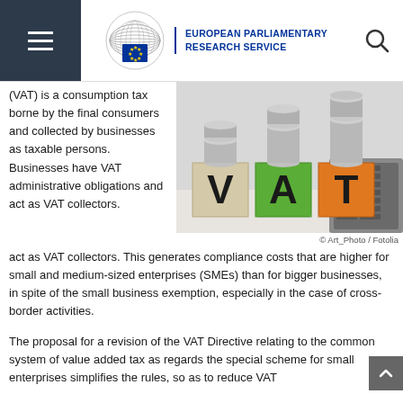EUROPEAN PARLIAMENTARY RESEARCH SERVICE
(VAT) is a consumption tax borne by the final consumers and collected by businesses as taxable persons. Businesses have VAT administrative obligations and act as VAT collectors. This generates compliance costs that are higher for small and medium-sized enterprises (SMEs) than for bigger businesses, in spite of the small business exemption, especially in the case of cross-border activities.
[Figure (photo): Three letter blocks spelling VAT (V on beige block, A on green block, T on orange block) with coin stacks on top, placed in front of a calculator keyboard]
© Art_Photo / Fotolia
The proposal for a revision of the VAT Directive relating to the common system of value added tax as regards the special scheme for small enterprises simplifies the rules, so as to reduce VAT